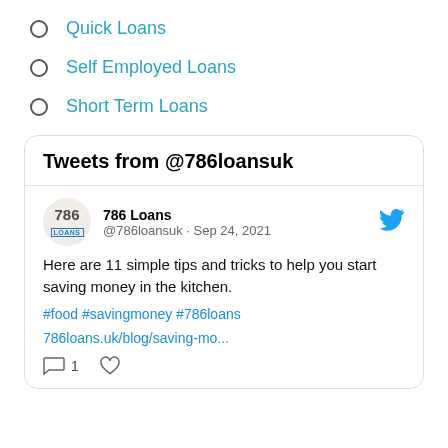Quick Loans
Self Employed Loans
Short Term Loans
[Figure (screenshot): Twitter widget showing tweets from @786loansuk. Contains a tweet by 786 Loans (@786loansuk · Sep 24, 2021) reading: 'Here are 11 simple tips and tricks to help you start saving money in the kitchen.' with hashtags #food #savingmoney #786loans and a link 786loans.uk/blog/saving-mo... with 1 comment and a like button.]